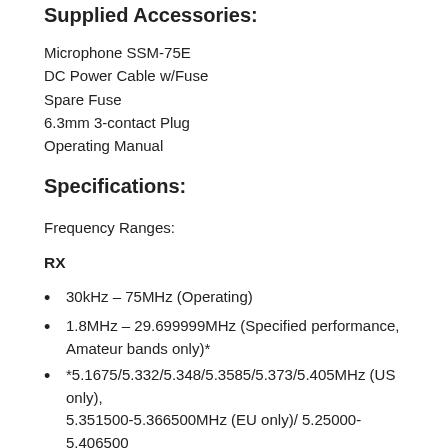Supplied Accessories:
Microphone SSM-75E
DC Power Cable w/Fuse
Spare Fuse
6.3mm 3-contact Plug
Operating Manual
Specifications:
Frequency Ranges:
RX
30kHz – 75MHz (Operating)
1.8MHz – 29.699999MHz (Specified performance, Amateur bands only)*
*5.1675/5.332/5.348/5.3585/5.373/5.405MHz (US only), 5.351500-5.366500MHz (EU only)/ 5.25000-5.406500